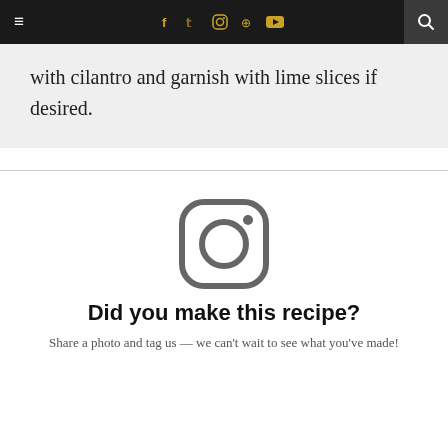≡  f  𝕥  Ⓘ  𝕡  ▶  🔍
with cilantro and garnish with lime slices if desired.
[Figure (logo): Instagram logo icon in dark gray]
Did you make this recipe?
Share a photo and tag us — we can't wait to see what you've made!